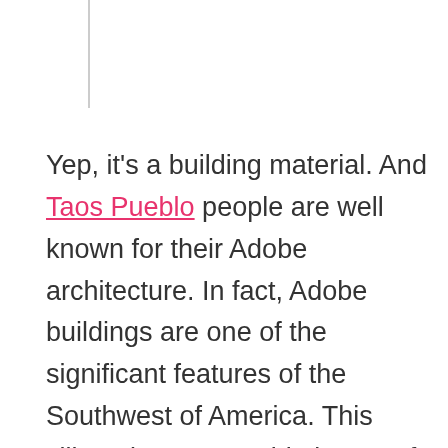Yep, it's a building material. And Taos Pueblo people are well known for their Adobe architecture. In fact, Adobe buildings are one of the significant features of the Southwest of America. This village in Taos Pueblo is one of the oldest continually inhabited communities in North America. They have been here since the 1200s. The current buildings are annually repaired and recoated with mud. There are about 150 people are living on the reservation out of 2,000 tribal members. They are keeping this UNESCO Heritage as it was. Because of the structural weakness, they won't allow people to use gas or